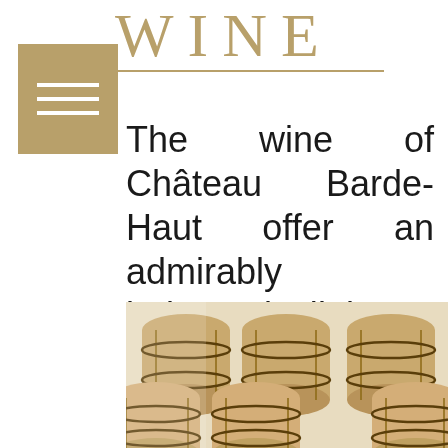WINE
[Figure (logo): Gold hamburger menu icon — three horizontal white lines on a tan/gold square background]
The wine of Château Barde-Haut offer an admirably balanced dialogue between power and freshness, resulting in a product
[Figure (photo): Photograph of oak wine barrels stacked in a winery cellar, light-colored wood barrels arranged in rows]